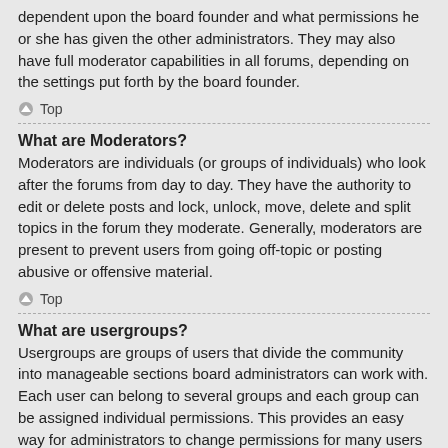dependent upon the board founder and what permissions he or she has given the other administrators. They may also have full moderator capabilities in all forums, depending on the settings put forth by the board founder.
Top
What are Moderators?
Moderators are individuals (or groups of individuals) who look after the forums from day to day. They have the authority to edit or delete posts and lock, unlock, move, delete and split topics in the forum they moderate. Generally, moderators are present to prevent users from going off-topic or posting abusive or offensive material.
Top
What are usergroups?
Usergroups are groups of users that divide the community into manageable sections board administrators can work with. Each user can belong to several groups and each group can be assigned individual permissions. This provides an easy way for administrators to change permissions for many users at once, such as changing moderator permissions or granting users